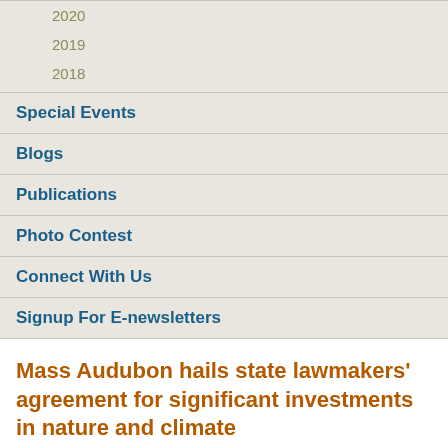2020
2019
2018
Special Events
Blogs
Publications
Photo Contest
Connect With Us
Signup For E-newsletters
Mass Audubon hails state lawmakers' agreement for significant investments in nature and climate
Release Date: December 3, 2021